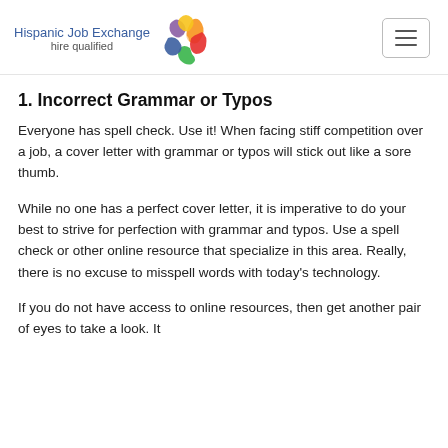Hispanic Job Exchange hire qualified
1. Incorrect Grammar or Typos
Everyone has spell check. Use it! When facing stiff competition over a job, a cover letter with grammar or typos will stick out like a sore thumb.
While no one has a perfect cover letter, it is imperative to do your best to strive for perfection with grammar and typos. Use a spell check or other online resource that specialize in this area. Really, there is no excuse to misspell words with today's technology.
If you do not have access to online resources, then get another pair of eyes to take a look. It